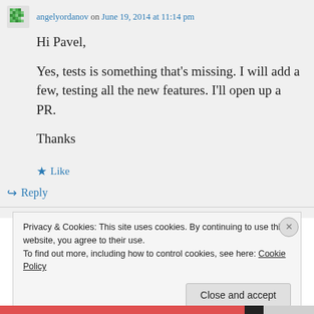angelyordanov on June 19, 2014 at 11:14 pm
Hi Pavel,

Yes, tests is something that’s missing. I will add a few, testing all the new features. I’ll open up a PR.

Thanks
★ Like
↪ Reply
Privacy & Cookies: This site uses cookies. By continuing to use this website, you agree to their use.
To find out more, including how to control cookies, see here: Cookie Policy
Close and accept